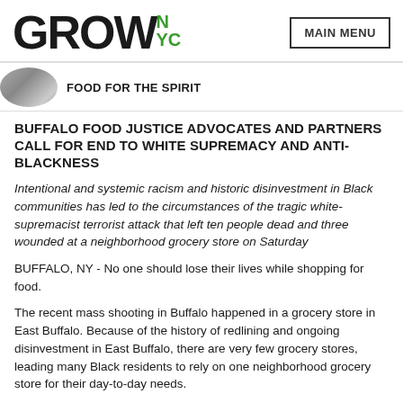GROWNYC — MAIN MENU
[Figure (photo): Circular thumbnail image, partially visible, showing a dark textured subject (food/nature)]
FOOD FOR THE SPIRIT
BUFFALO FOOD JUSTICE ADVOCATES AND PARTNERS CALL FOR END TO WHITE SUPREMACY AND ANTI-BLACKNESS
Intentional and systemic racism and historic disinvestment in Black communities has led to the circumstances of the tragic white-supremacist terrorist attack that left ten people dead and three wounded at a neighborhood grocery store on Saturday
BUFFALO, NY - No one should lose their lives while shopping for food.
The recent mass shooting in Buffalo happened in a grocery store in East Buffalo. Because of the history of redlining and ongoing disinvestment in East Buffalo, there are very few grocery stores, leading many Black residents to rely on one neighborhood grocery store for their day-to-day needs.